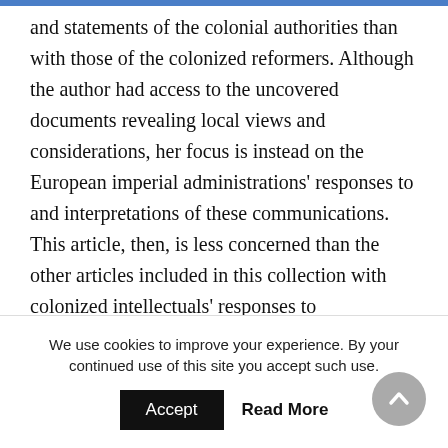and statements of the colonial authorities than with those of the colonized reformers. Although the author had access to the uncovered documents revealing local views and considerations, her focus is instead on the European imperial administrations' responses to and interpretations of these communications. This article, then, is less concerned than the other articles included in this collection with colonized intellectuals' responses to imperialism, which is seemingly one of the defining themes of the new Great Game. Nonetheless, Streets-Salter's analysis reveals how the competition for
We use cookies to improve your experience. By your continued use of this site you accept such use.